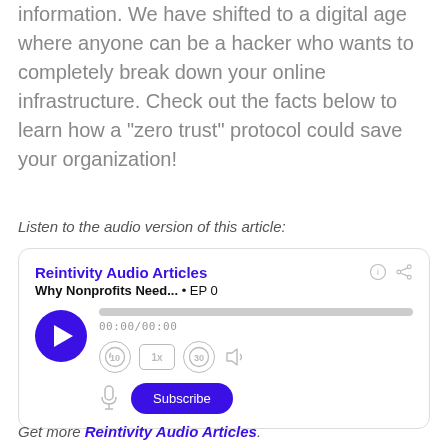information. We have shifted to a digital age where anyone can be a hacker who wants to completely break down your online infrastructure. Check out the facts below to learn how a “zero trust” protocol could save your organization!
Listen to the audio version of this article:
[Figure (other): Podcast audio player widget for 'Reintivity Audio Articles' showing episode 'Why Nonprofits Need... EP 0' with a play button, progress bar at 00:00/00:00, playback controls (rewind 10, 1x speed, forward 30, volume), microphone icon, and Subscribe button.]
Get more Reintivity Audio Articles.